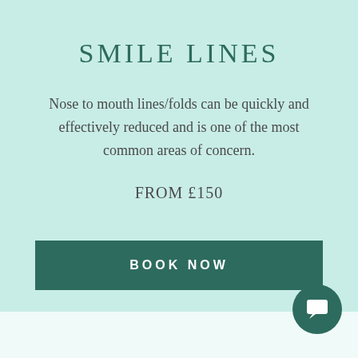SMILE LINES
Nose to mouth lines/folds can be quickly and effectively reduced and is one of the most common areas of concern.
FROM £150
BOOK NOW
[Figure (illustration): Chat bubble icon in a dark green circle, positioned bottom right]